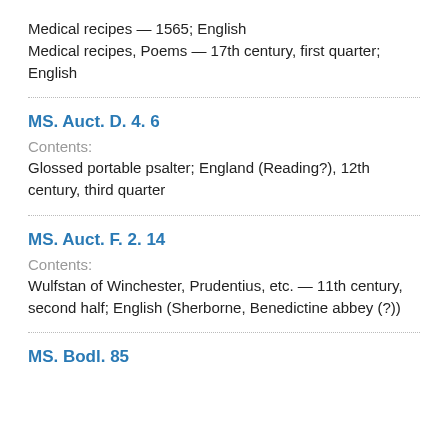Medical recipes — 1565; English
Medical recipes, Poems — 17th century, first quarter; English
MS. Auct. D. 4. 6
Contents:
Glossed portable psalter; England (Reading?), 12th century, third quarter
MS. Auct. F. 2. 14
Contents:
Wulfstan of Winchester, Prudentius, etc. — 11th century, second half; English (Sherborne, Benedictine abbey (?))
MS. Bodl. 85